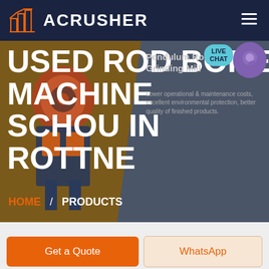[Figure (logo): ACRUSHER logo with orange building icon on dark navy header bar]
USED ROD BORE MACHINE SCHOU IN ROTTNE
[Figure (photo): Industrial grinding/crushing machine in brown and dark background with right panel showing Pendulum Roller Grinding Mill product card]
Pendulum Roller Grinding Mill
Lower operational & maintenance costs, excellent environmental protection, better quality of finished products.
HOME / PRODUCTS
[Figure (other): Live Chat bubble in teal/purple]
Get a Quote
WhatsApp